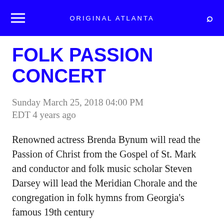ORIGINAL ATLANTA
FOLK PASSION CONCERT
Sunday March 25, 2018 04:00 PM EDT 4 years ago
Renowned actress Brenda Bynum will read the Passion of Christ from the Gospel of St. Mark and conductor and folk music scholar Steven Darsey will lead the Meridian Chorale and the congregation in folk hymns from Georgia's famous 19th century